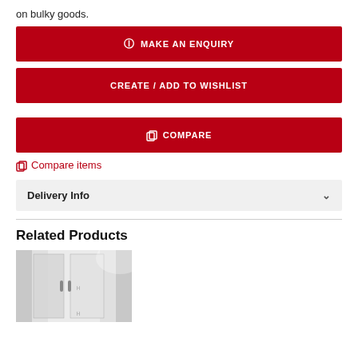on bulky goods.
MAKE AN ENQUIRY
CREATE / ADD TO WISHLIST
COMPARE
Compare items
Delivery Info
Related Products
[Figure (photo): A product photo showing what appears to be a glass door or shower panel in white/grey tones]